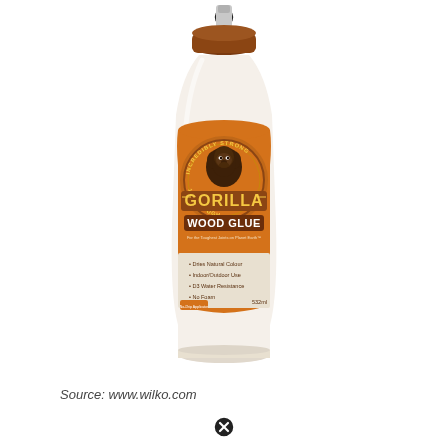[Figure (photo): A bottle of Gorilla Wood Glue, approximately 532ml. The bottle is white plastic with a brown screw cap and a narrow applicator tip. The label is orange with a circular emblem featuring a gorilla. Text on label reads: INCREDIBLY STRONG, GORILLA, 100% TOUGH, WOOD GLUE, For the Toughest Joints on Planet Earth, Dries Natural Colour, Indoor/Outdoor Use, D3 Water Resistance, No Foam, 532ml.]
Source: www.wilko.com